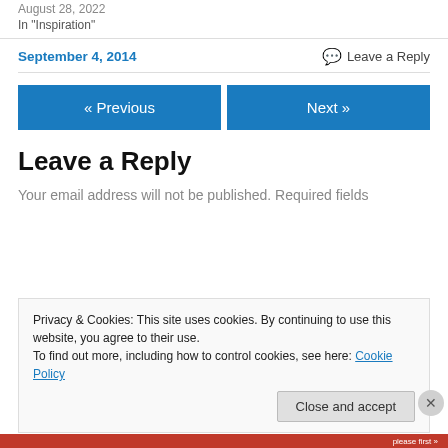August 28, 2022
In "Inspiration"
September 4, 2014
Leave a Reply
« Previous
Next »
Leave a Reply
Your email address will not be published. Required fields
Privacy & Cookies: This site uses cookies. By continuing to use this website, you agree to their use.
To find out more, including how to control cookies, see here: Cookie Policy
Close and accept